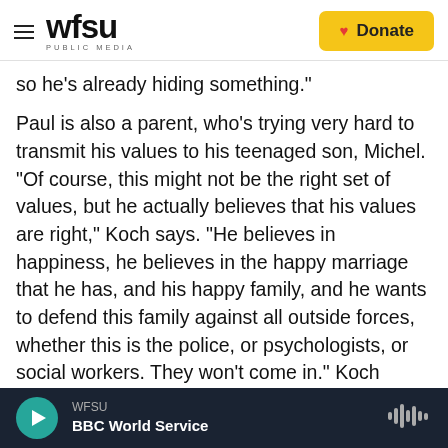WFSU PUBLIC MEDIA | Donate
so he's already hiding something."
Paul is also a parent, who's trying very hard to transmit his values to his teenaged son, Michel. "Of course, this might not be the right set of values, but he actually believes that his values are right," Koch says. "He believes in happiness, he believes in the happy marriage that he has, and his happy family, and he wants to defend this family against all outside forces, whether this is the police, or psychologists, or social workers. They won't come in." Koch compares Paul to Tony Soprano — someone who's sympathetic in defense of his
WFSU BBC World Service